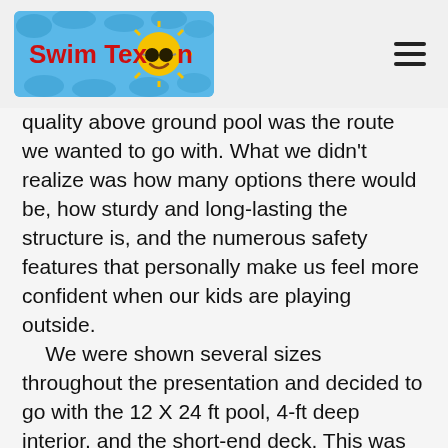Swim TexSun logo and navigation hamburger menu
quality above ground pool was the route we wanted to go with. What we didn't realize was how many options there would be, how sturdy and long-lasting the structure is, and the numerous safety features that personally make us feel more confident when our kids are playing outside.
    We were shown several sizes throughout the presentation and decided to go with the 12 X 24 ft pool, 4-ft deep interior, and the short-end deck. This was the perfect choice for our family. Being able to access our pool easily and safely with a ladder that can be raised and latched as well as the keyed-gate that stays locked when we're not using it has put my mind at ease and gives us options for further decking landscaping improvements around